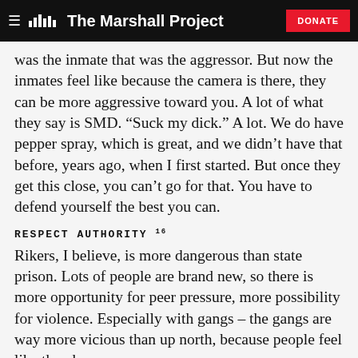The Marshall Project — DONATE
was the inmate that was the aggressor. But now the inmates feel like because the camera is there, they can be more aggressive toward you. A lot of what they say is SMD. “Suck my dick.” A lot. We do have pepper spray, which is great, and we didn’t have that before, years ago, when I first started. But once they get this close, you can’t go for that. You have to defend yourself the best you can.
RESPECT AUTHORITY 16
Rikers, I believe, is more dangerous than state prison. Lots of people are brand new, so there is more opportunity for peer pressure, more possibility for violence. Especially with gangs – the gangs are way more vicious than up north, because people feel like they have